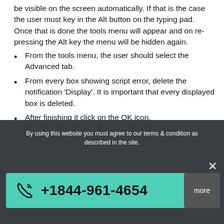be visible on the screen automatically. If that is the case the user must key in the Alt button on the typing pad. Once that is done the tools menu will appear and on re-pressing the Alt key the menu will be hidden again.
From the tools menu, the user should select the Advanced tab.
From every box showing script error, delete the notification 'Display'. It is important that every displayed box is deleted.
After finishing it click on the OK icon.
How to Open: QuickBooks Company File is
By using this website you must agree to our terms & condition as described in the site.
+1844-961-4654
more
×